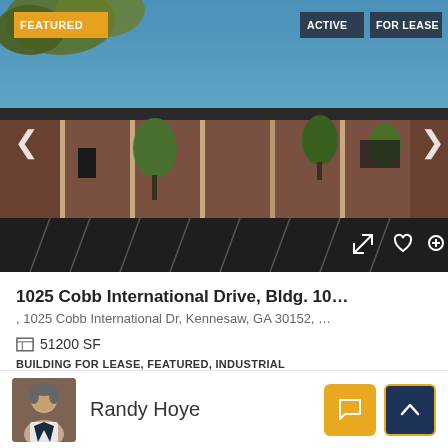[Figure (photo): Exterior photo of industrial building at 1025 Cobb International Drive, Kennesaw, GA. Brick building with parking lot in foreground, trees visible, blue sky. Overlaid: FEATURED badge top-left, ACTIVE and FOR LEASE badges top-right, navigation arrows, and action icons.]
1025 Cobb International Drive, Bldg. 10…
, 1025 Cobb International Dr, Kennesaw, GA 30152, …
51200 SF
BUILDING FOR LEASE, FEATURED, INDUSTRIAL
Randy Hoye